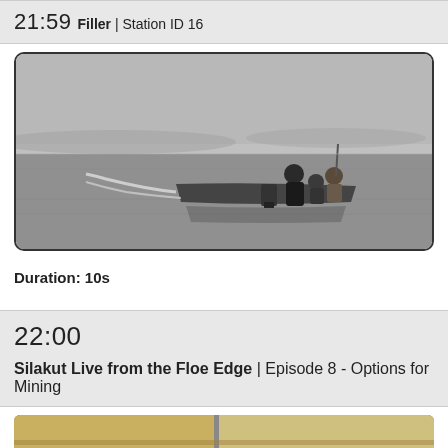21:59 Filler | Station ID 16
[Figure (photo): Black and white photo of people on a motorboat on calm water, displayed inside a rounded TV-screen style frame]
Duration: 10s
22:00 Silakut Live from the Floe Edge | Episode 8 - Options for Mining
[Figure (photo): Partial view of a photo with warm yellowish tones, bottom of page]